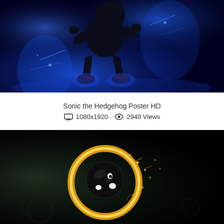[Figure (photo): Dark silhouette of Sonic the Hedgehog running, surrounded by glowing blue light and energy against a dark background. Red shoes with glowing blue aura visible at feet.]
Sonic the Hedgehog Poster HD
1080x1920 · 2940 Views
[Figure (photo): Sonic the Hedgehog in a curled spin-dash ball surrounded by a glowing gold ring with sparks and energy effects against a black background.]